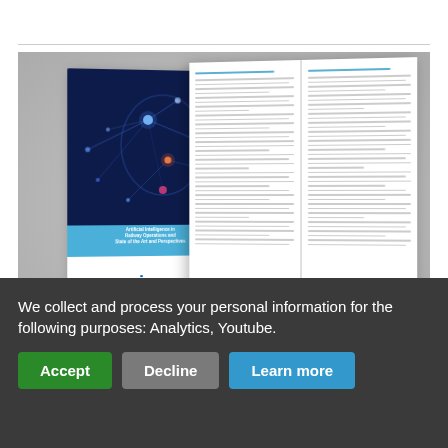[Figure (photo): A UIC (International Union of Railways) publication shown as a book cover and open book spread. The cover features a dark blue background with a glowing brain/neural network graphic, a light blue band, and the UIC logo on white. The open book shows internal text pages with dense columns of text and section headings.]
We collect and process your personal information for the following purposes: Analytics, Youtube.
Accept
Decline
Learn more